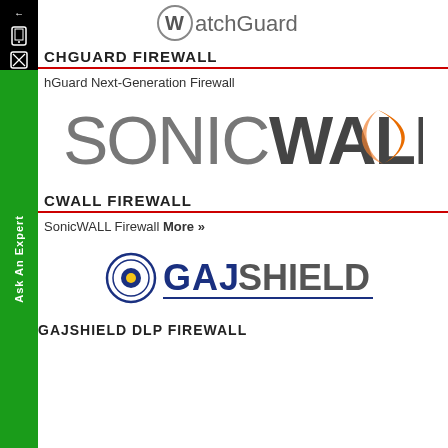[Figure (logo): WatchGuard logo with circular W icon and 'atchGuard' text]
WATCHGUARD FIREWALL
WatchGuard Next-Generation Firewall
[Figure (logo): SonicWALL logo with orange swoosh mark and grey/dark text]
SONICWALL FIREWALL
SonicWALL Firewall More »
[Figure (logo): GajShield logo with circular emblem and bold navy text with underline]
GAJSHIELD DLP FIREWALL